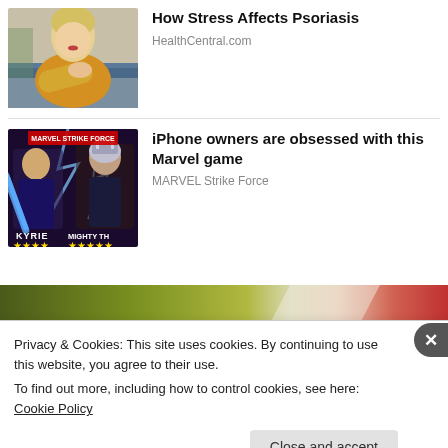[Figure (photo): Woman in yellow sweater scratching her arm, sitting on a couch]
How Stress Affects Psoriasis
HealthCentral.com
[Figure (photo): Marvel Strike Force game promotional image showing characters KYRIE and MIGHTY THO with star ratings]
iPhone owners are obsessed with this Marvel game
MARVEL Strike Force
[Figure (photo): Partial banner image with green and red gradient]
Privacy & Cookies: This site uses cookies. By continuing to use this website, you agree to their use.
To find out more, including how to control cookies, see here: Cookie Policy
Close and accept